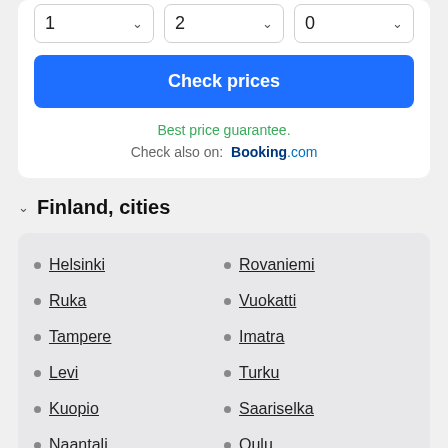[Figure (screenshot): Three dropdown selector boxes showing values 1, 2, 0 with chevron icons]
Check prices
Best price guarantee.
Check also on: Booking.com
Finland, cities
Helsinki
Rovaniemi
Ruka
Vuokatti
Tampere
Imatra
Levi
Turku
Kuopio
Saariselka
Naantali
Oulu